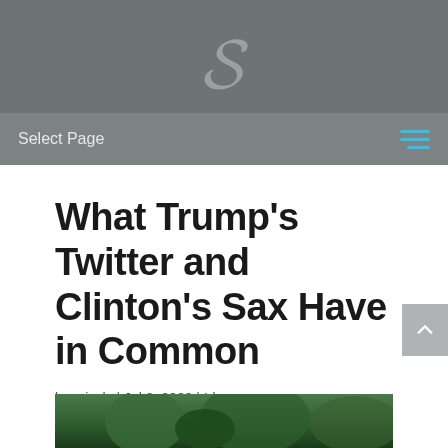[Figure (logo): Stylized letter S logo in gray on dark gray background]
Select Page
What Trump's Twitter and Clinton's Sax Have in Common
by crissly | Jul 2, 2020 | Ideas
[Figure (photo): Partial photo of a person outdoors with trees in background]